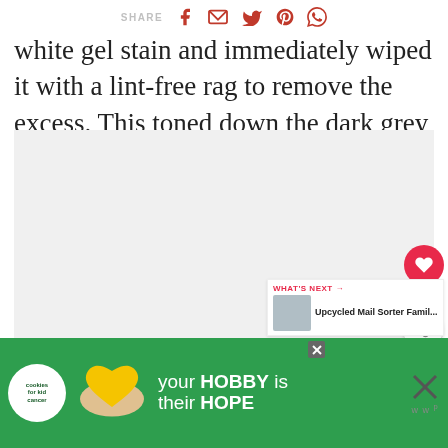SHARE [social icons: Facebook, Email, Twitter, Pinterest, WhatsApp]
white gel stain and immediately wiped it with a lint-free rag to remove the excess. This toned down the dark grey nicely.
[Figure (photo): Large image area (appears light/blank in this view), with like button (heart, red circle), like count 12, and share button overlay on right side]
WHAT'S NEXT → Upcycled Mail Sorter Famil...
[Figure (infographic): Advertisement banner: cookies for kid cancer - your HOBBY is their HOPE]